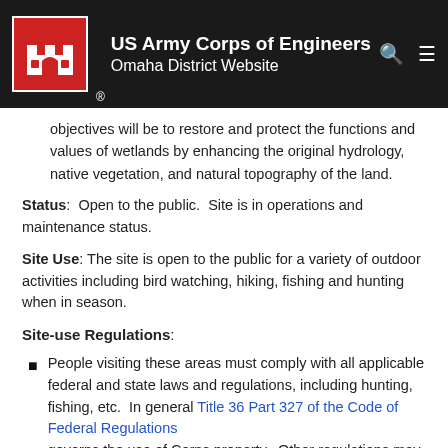US Army Corps of Engineers Omaha District Website
areas dominated by cattails and bulrush
With the exception of the northwest tract, the majority of the site is enrolled in the Wetlands Reserve Program which serves to meet specific wetlands land management objectives will be to restore and protect the functions and values of wetlands by enhancing the original hydrology, native vegetation, and natural topography of the land.
Status: Open to the public. Site is in operations and maintenance status.
Site Use: The site is open to the public for a variety of outdoor activities including bird watching, hiking, fishing and hunting when in season.
Site-use Regulations:
People visiting these areas must comply with all applicable federal and state laws and regulations, including hunting, fishing, etc. In general Title 36 Part 327 of the Code of Federal Regulations governs the use of Corps property. Other regulations may apply